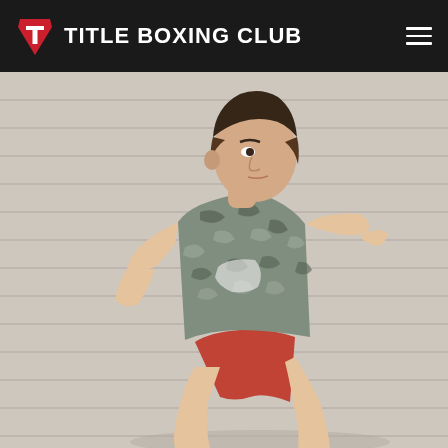TITLE BOXING CLUB
[Figure (photo): A man wearing a camouflage grey t-shirt and red shorts in a boxing stance, photographed against a light grey horizontal siding background.]